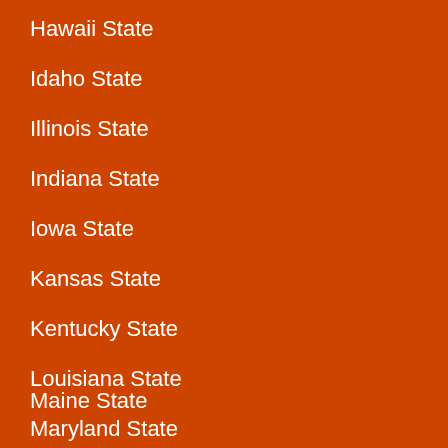Hawaii State
Idaho State
Illinois State
Indiana State
Iowa State
Kansas State
Kentucky State
Louisiana State
Maine State
Maryland State